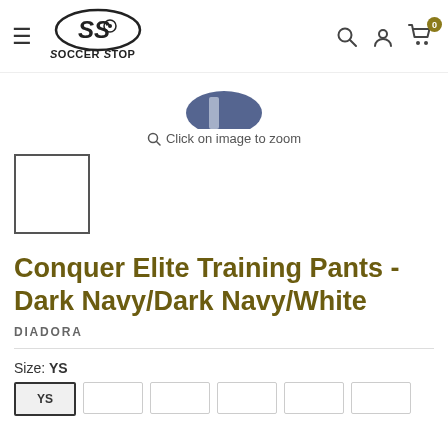[Figure (logo): Soccer Stop logo with SS initials and soccer ball, italic text below]
[Figure (photo): Partial product image showing dark navy training pants, cut off at top]
Click on image to zoom
[Figure (photo): Thumbnail image box with border, empty/white]
Conquer Elite Training Pants - Dark Navy/Dark Navy/White
DIADORA
Size: YS